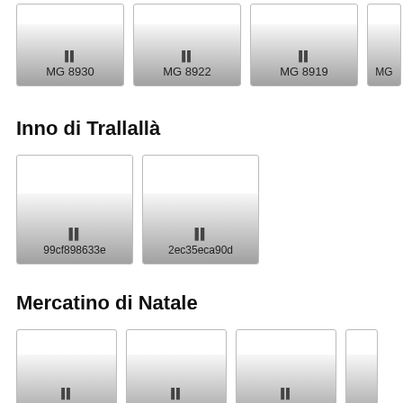[Figure (other): Row of music album thumbnails with gradient overlay: MG 8930, MG 8922, MG 8919, and a partial fourth]
Inno di Trallallà
[Figure (other): Row of music album thumbnails: 99cf898633e, 2ec35eca90d]
Mercatino di Natale
[Figure (other): Row of music album thumbnails: E10657f41c0, E9de5cf2274, E9d3131ffb4, and a partial fourth D0...]